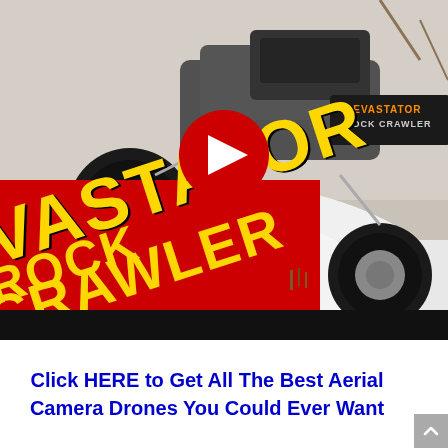[Figure (screenshot): YouTube video thumbnail showing an RC monster truck (Devastator Rock Crawler 4x4) climbing a snowy mound. A red diagonal banner in the lower-left reads 'VASTATOR ROCK CRAWLER' in yellow text. A YouTube play button (red circle with white triangle) is centered on the image. The bottom of the video area has a black bar.]
Click HERE to Get All The Best Aerial Camera Drones You Could Ever Want